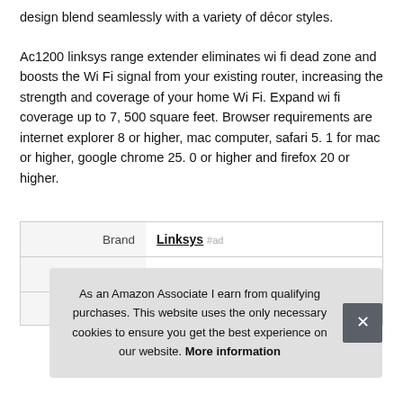design blend seamlessly with a variety of décor styles.
Ac1200 linksys range extender eliminates wi fi dead zone and boosts the Wi Fi signal from your existing router, increasing the strength and coverage of your home Wi Fi. Expand wi fi coverage up to 7, 500 square feet. Browser requirements are internet explorer 8 or higher, mac computer, safari 5. 1 for mac or higher, google chrome 25. 0 or higher and firefox 20 or higher.
|  |  |
| --- | --- |
| Brand | Linksys #ad |
| Manufacturer | Linksys #ad |
| Part Number | RE6350-cr |
As an Amazon Associate I earn from qualifying purchases. This website uses the only necessary cookies to ensure you get the best experience on our website. More information